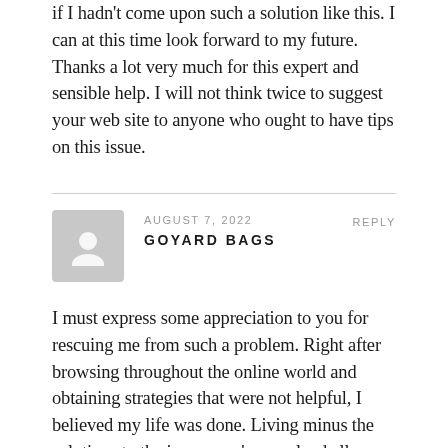if I hadn't come upon such a solution like this. I can at this time look forward to my future. Thanks a lot very much for this expert and sensible help. I will not think twice to suggest your web site to anyone who ought to have tips on this issue.
AUGUST 7, 2022
REPLY
GOYARD BAGS
I must express some appreciation to you for rescuing me from such a problem. Right after browsing throughout the online world and obtaining strategies that were not helpful, I believed my life was done. Living minus the solutions to the issues you've resolved all through your entire guide is a critical case, as well as the ones